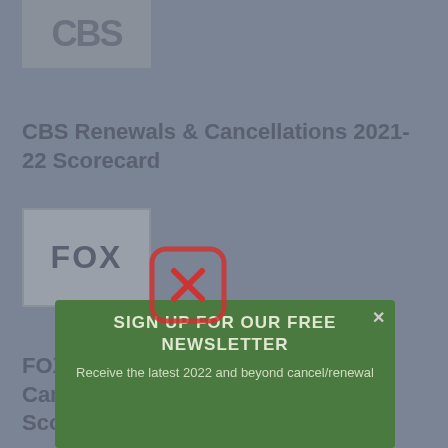[Figure (logo): CBS logo in a grey bordered box, partially cropped at top]
CBS Renewals & Cancellations 2021-22 Scorecard
[Figure (logo): FOX logo in a grey bordered box]
FOX Renewals & Cancellations 2021-22 Scorecard
[Figure (other): Red rounded-square close/cancel icon overlaid on page]
SIGN UP FOR OUR FREE NEWSLETTER
Receive the latest 2022 and beyond cancel/renewal